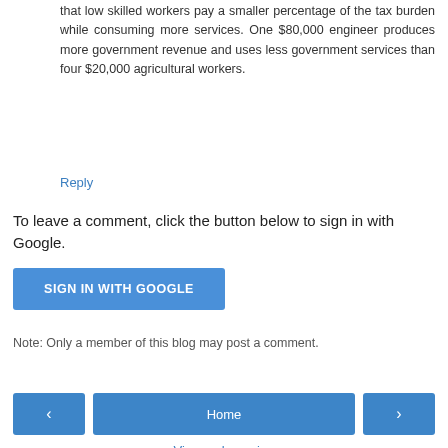that low skilled workers pay a smaller percentage of the tax burden while consuming more services. One $80,000 engineer produces more government revenue and uses less government services than four $20,000 agricultural workers.
Reply
To leave a comment, click the button below to sign in with Google.
SIGN IN WITH GOOGLE
Note: Only a member of this blog may post a comment.
Home
View web version
Powered by Blogger.